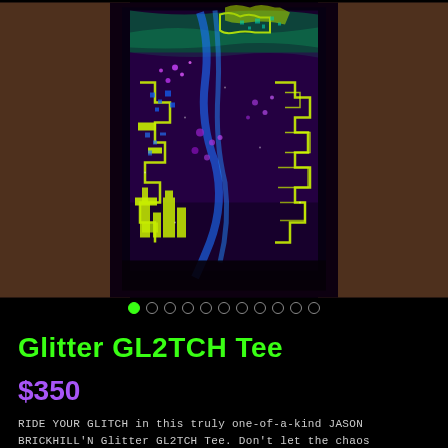[Figure (photo): Product photo of Glitter GL2TCH Tee — a black t-shirt with colorful glitter graphic art featuring circuit board patterns, pixel art, and psychedelic designs in purple, blue, yellow/gold, and teal colors. The shirt is worn by a person shown from neck to waist against a dark background.]
Glitter GL2TCH Tee
$350
RIDE YOUR GLITCH in this truly one-of-a-kind JASON BRICKHILL'N Glitter GL2TCH Tee. Don't let the chaos